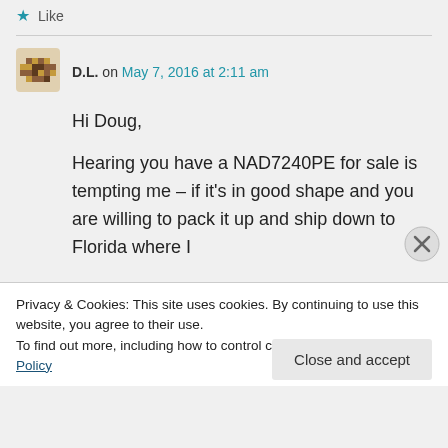★ Like
[Figure (illustration): Decorative avatar icon with a pixel/mosaic pattern in brown and orange tones]
D.L. on May 7, 2016 at 2:11 am
Hi Doug,

Hearing you have a NAD7240PE for sale is tempting me – if it's in good shape and you are willing to pack it up and ship down to Florida where I
Privacy & Cookies: This site uses cookies. By continuing to use this website, you agree to their use.
To find out more, including how to control cookies, see here: Cookie Policy
Close and accept